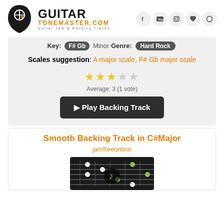[Figure (logo): GuitarTonemaster.com logo with guitar pick icon, 'GUITAR' in bold black, 'TONEMASTER.COM' in orange, tagline 'Guitar Jam & Backing Tracks']
[Figure (infographic): Social media icons: Facebook, YouTube, Instagram, heart/favorites, and circle/user icon in circular buttons]
Key: F# Gb Minor Genre: Hard Rock
Scales suggestion: A major scale, F# Gb major scale
[Figure (infographic): 3 out of 5 stars rating, Average: 3 (1 vote)]
▶ Play Backing Track
Smooth Backing Track in C#Major
jamfreeonline
[Figure (photo): Guitar fretboard with musical notes icon overlay on dark background]